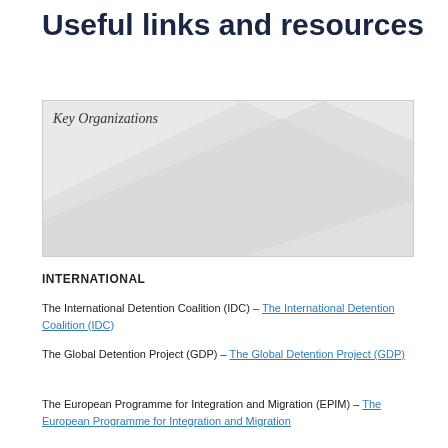Useful links and resources
[Figure (illustration): Image labeled 'Key Organizations' showing a light gray background with subtle diagonal shading — a decorative/placeholder image for the section.]
INTERNATIONAL
The International Detention Coalition (IDC) – The International Detention Coalition (IDC)
The Global Detention Project (GDP) – The Global Detention Project (GDP)
The European Programme for Integration and Migration (EPIM) – The European Programme for Integration and Migration